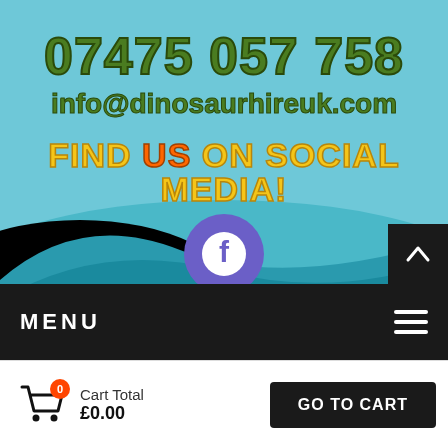[Figure (screenshot): Website screenshot of dinosaurhireuk.com showing contact information, social media section, navigation bar, and cart bar on a teal illustrated background with hills and plants.]
07475 057 758
info@dinosaurhireuk.com
FIND US ON SOCIAL MEDIA!
MENU | Cart Total £0.00 | GO TO CART